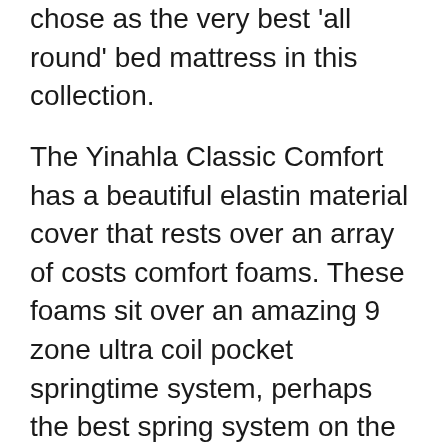chose as the very best 'all round' bed mattress in this collection.
The Yinahla Classic Comfort has a beautiful elastin material cover that rests over an array of costs comfort foams. These foams sit over an amazing 9 zone ultra coil pocket springtime system, perhaps the best spring system on the market. This bed mattress will accommodate individuals of all dimensions and its equilibrium of comfort and also support is merely divine.
The Yinahla Classic Comfort can be comfortably purchased online through the Yinahla site. It features a 100 evening cost-free test duration, suggesting that you can return it for a full reimbursement if you are